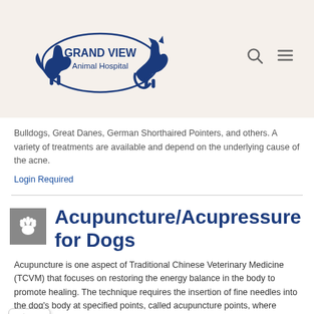Grand View Animal Hospital
Bulldogs, Great Danes, German Shorthaired Pointers, and others. A variety of treatments are available and depend on the underlying cause of the acne.
Login Required
Acupuncture/Acupressure for Dogs
Acupuncture is one aspect of Traditional Chinese Veterinary Medicine (TCVM) that focuses on restoring the energy balance in the body to promote healing. The technique requires the insertion of fine needles into the dog's body at specified points, called acupuncture points, where nerves and blood